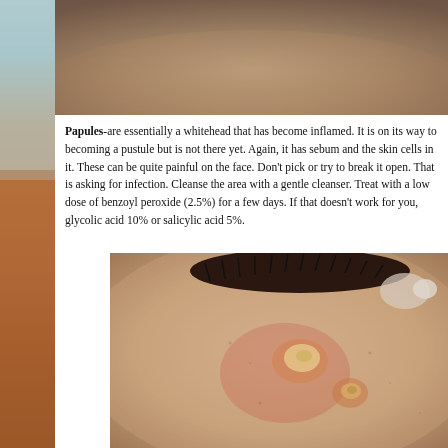[Figure (photo): Left side strip showing skin/body image with brownish-orange tones]
[Figure (photo): Top right image showing close-up of dark skin surface (upper portion of face/skin)]
Papules-are essentially a whitehead that has become inflamed. It is on its way to becoming a pustule but is not there yet. Again, it has sebum and the skin cells in it. These can be quite painful on the face. Don't pick or try to break it open. That is asking for infection. Cleanse the area with a gentle cleanser. Treat with a low dose of benzoyl peroxide (2.5%) for a few days. If that doesn't work for you, glycolic acid 10% or salicylic acid 5%.
[Figure (photo): Close-up photo of inflamed papules/pustules near the eye area on skin showing inflamed red bumps with white/yellowish centers]